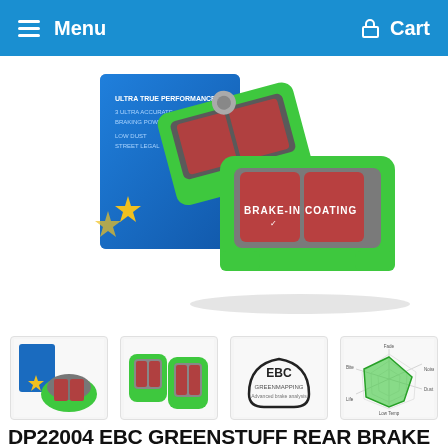Menu  Cart
[Figure (photo): EBC Greenstuff brake pads shown with product box. Two green-backed brake pads with red/grey friction material labeled BRAKE-IN COATING, alongside a blue product box with stars and EBC branding.]
[Figure (photo): Thumbnail 1: EBC product box with brake pads]
[Figure (photo): Thumbnail 2: Green EBC brake pads front view]
[Figure (photo): Thumbnail 3: EBC Greenmapping brake pad diagram outline]
[Figure (radar-chart): Thumbnail 4: EBC performance radar/spider chart showing brake pad characteristics in green]
DP22004 EBC GREENSTUFF REAR BRAKE